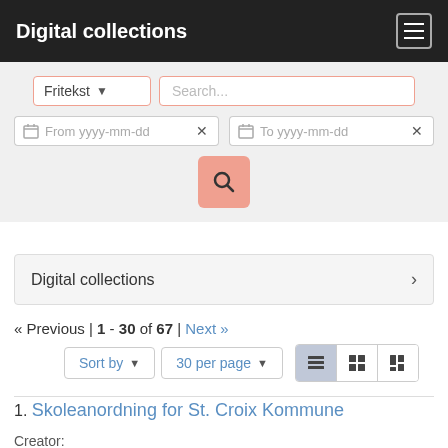Digital collections
[Figure (screenshot): Search interface with Fritekst dropdown and Search text field]
[Figure (screenshot): Date range fields: From yyyy-mm-dd and To yyyy-mm-dd with clear buttons]
[Figure (screenshot): Search button (magnifying glass icon, salmon/orange color)]
Digital collections >
« Previous | 1 - 30 of 67 | Next »
[Figure (screenshot): Sort by dropdown, 30 per page dropdown, and three view toggle buttons (list, grid, masonry)]
1. Skoleanordning for St. Croix Kommune
Creator: